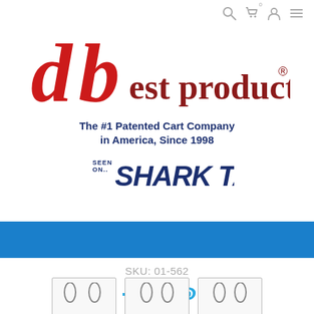Navigation icons: search, cart (0), user, menu
[Figure (logo): db est products® logo with large red 'db' letters and dark red 'est products' text with registered trademark symbol]
The #1 Patented Cart Company in America, Since 1998
[Figure (logo): Seen on Shark Tank badge logo]
[Figure (other): Blue horizontal banner bar]
SKU: 01-562
[Figure (other): Social media icons: Facebook, Twitter, Pinterest in cyan/light blue]
Color - Black
[Figure (other): Three product thumbnail images showing black cart/bag products]